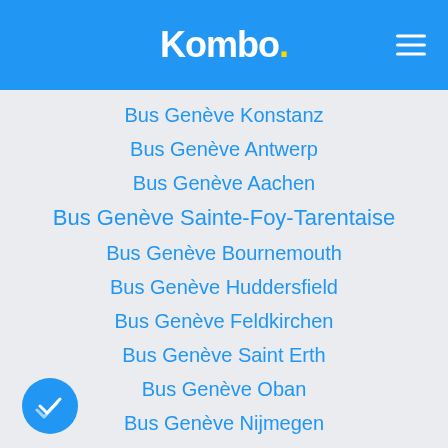Kombo.
Bus Genève Konstanz
Bus Genève Antwerp
Bus Genève Aachen
Bus Genève Sainte-Foy-Tarentaise
Bus Genève Bournemouth
Bus Genève Huddersfield
Bus Genève Feldkirchen
Bus Genève Saint Erth
Bus Genève Oban
Bus Genève Nijmegen
Bus Genève Dahme
Bus Genève Fagaras